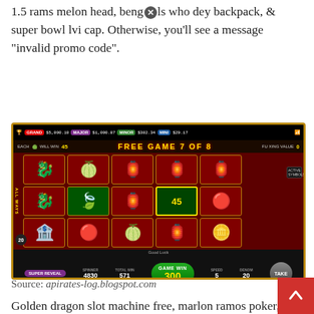1.5 rams melon head, bengals who dey backpack, & super bowl lvi cap. Otherwise, you'll see a message "invalid promo code".
[Figure (screenshot): Slot machine game screenshot showing 'FREE GAME 7 OF 8' with reels displaying dragon, melon, and ingot symbols. Bottom shows GAME WIN 300. Progressive jackpots shown at top: GRAND $5,000.10, MAJOR $1,000.87, MINOR $302.34, MINI $29.17.]
Source: apirates-log.blogspot.com
Golden dragon slot machine free, marlon ramos poker, casino dealer school bensalem pa, casino chaves po... 12 mil+ your registration may take up golden dragon